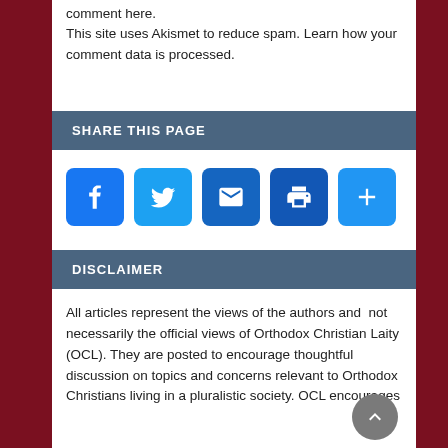comment here. This site uses Akismet to reduce spam. Learn how your comment data is processed.
SHARE THIS PAGE
[Figure (infographic): Row of five social sharing icon buttons: Facebook (blue f), Twitter (blue bird), Email (blue envelope), Print (blue printer), More/Add (blue plus sign)]
DISCLAIMER
All articles represent the views of the authors and not necessarily the official views of Orthodox Christian Laity (OCL). They are posted to encourage thoughtful discussion on topics and concerns relevant to Orthodox Christians living in a pluralistic society. OCL encourages